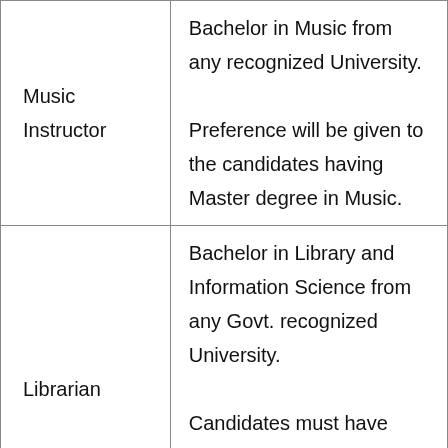| Music Instructor | Bachelor in Music from any recognized University. Preference will be given to the candidates having Master degree in Music. |
| Librarian | Bachelor in Library and Information Science from any Govt. recognized University. Candidates must have knowledge in Computer application and software in the concerned field. |